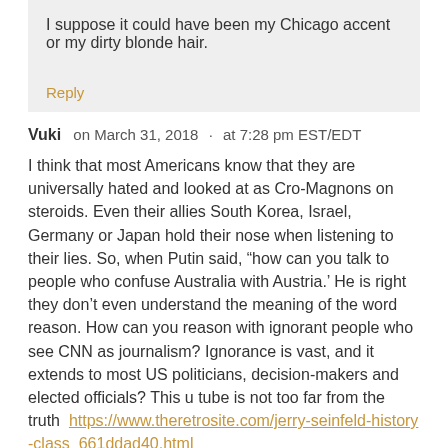I suppose it could have been my Chicago accent or my dirty blonde hair.
Reply
Vuki   on March 31, 2018  ·  at 7:28 pm EST/EDT
I think that most Americans know that they are universally hated and looked at as Cro-Magnons on steroids. Even their allies South Korea, Israel, Germany or Japan hold their nose when listening to their lies. So, when Putin said, “how can you talk to people who confuse Australia with Austria.’ He is right they don’t even understand the meaning of the word reason. How can you reason with ignorant people who see CNN as journalism? Ignorance is vast, and it extends to most US politicians, decision-makers and elected officials? This u tube is not too far from the truth  https://www.theretrosite.com/jerry-seinfeld-history-class_661ddad40.html
US diplomacy is shared with the world by ignorant people like Nikki Haley who is dumber than a sack full of hammers. Its this ignorant person who delivers US threats, ultimatums and